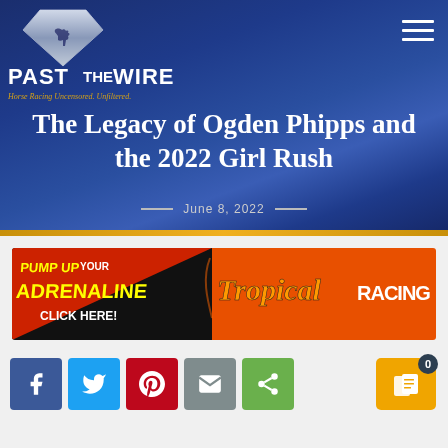[Figure (logo): Past The Wire logo with diamond shape containing a horse silhouette, white bold text 'PAST THE WIRE', and gold italic tagline 'Horse Racing Uncensored. Unfiltered.']
The Legacy of Ogden Phipps and the 2022 Girl Rush
— June 8, 2022 —
[Figure (infographic): Tropical Racing advertisement banner with text 'PUMP UP YOUR ADRENALINE CLICK HERE!' and 'Tropical RACING' on orange/black background]
[Figure (infographic): Social share buttons: Facebook (blue), Twitter (light blue), Pinterest (red), Email (gray), Share (green), and an orange share count badge showing 0]